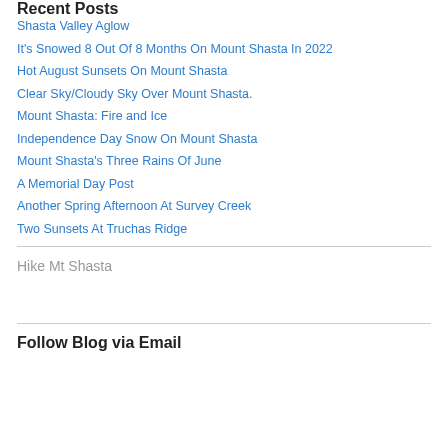Recent Posts
Shasta Valley Aglow
It's Snowed 8 Out Of 8 Months On Mount Shasta In 2022
Hot August Sunsets On Mount Shasta
Clear Sky/Cloudy Sky Over Mount Shasta.
Mount Shasta: Fire and Ice
Independence Day Snow On Mount Shasta
Mount Shasta's Three Rains Of June
A Memorial Day Post
Another Spring Afternoon At Survey Creek
Two Sunsets At Truchas Ridge
Hike Mt Shasta
Follow Blog via Email